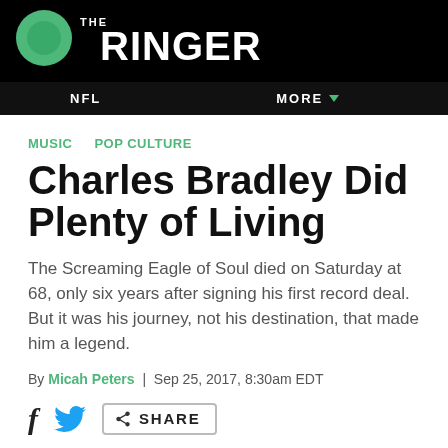THE RINGER
NFL   MORE
MUSIC   POP CULTURE
Charles Bradley Did Plenty of Living
The Screaming Eagle of Soul died on Saturday at 68, only six years after signing his first record deal. But it was his journey, not his destination, that made him a legend.
By Micah Peters | Sep 25, 2017, 8:30am EDT